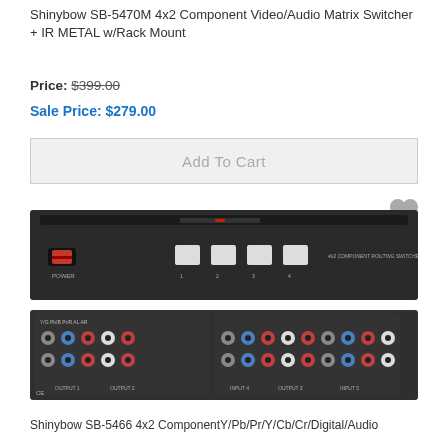Shinybow SB-5470M 4x2 Component Video/Audio Matrix Switcher + IR METAL w/Rack Mount
Price: $399.00
Sale Price: $279.00
Add To Cart
[Figure (photo): Product photo of Shinybow SB-5470M 4x2 Component Video/Audio Matrix Switcher showing front panel with power button and 4 input selector buttons, and rear panel with multiple component video and audio RCA connectors]
Shinybow SB-5466 4x2 ComponentY/Pb/Pr/Y/Cb/Cr/Digital/Audio